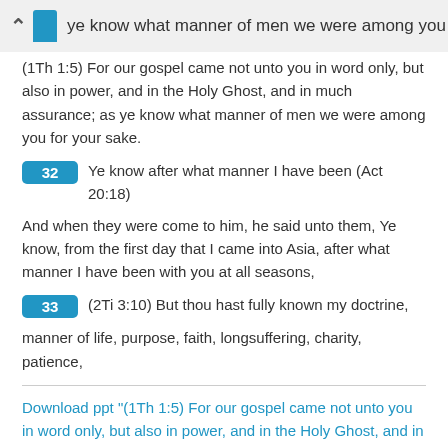ye know what manner of men we were among you
(1Th 1:5) For our gospel came not unto you in word only, but also in power, and in the Holy Ghost, and in much assurance; as ye know what manner of men we were among you for your sake.
32  Ye know after what manner I have been (Act 20:18) And when they were come to him, he said unto them, Ye know, from the first day that I came into Asia, after what manner I have been with you at all seasons,
33  (2Ti 3:10) But thou hast fully known my doctrine, manner of life, purpose, faith, longsuffering, charity, patience,
Download ppt "(1Th 1:5) For our gospel came not unto you in word only, but also in power, and in the Holy Ghost, and in much assurance; as ye know what manner of."